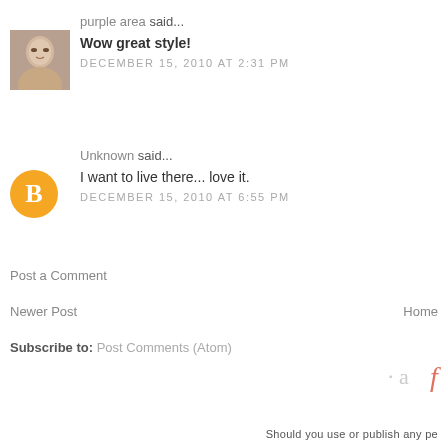purple area said...
[Figure (photo): Small avatar photo of a woman]
Wow great style!
DECEMBER 15, 2010 AT 2:31 PM
Unknown said...
[Figure (logo): Orange Blogger 'B' icon circle]
I want to live there... love it.
DECEMBER 15, 2010 AT 6:55 PM
Post a Comment
Newer Post
Home
Subscribe to: Post Comments (Atom)
· a f
Should you use or publish any pe